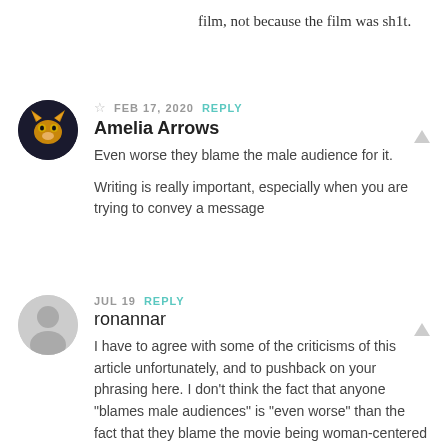film, not because the film was sh1t.
FEB 17, 2020 REPLY
Amelia Arrows
Even worse they blame the male audience for it.

Writing is really important, especially when you are trying to convey a message
JUL 19 REPLY
ronannar
I have to agree with some of the criticisms of this article unfortunately, and to pushback on your phrasing here. I don't think the fact that anyone "blames male audiences" is "even worse" than the fact that they blame the movie being woman-centered for the failure. The fact that every female-led film is judged as a representative of womanhood, instead of as a film, is an immense problem with misogyny. The fact that women-led films...